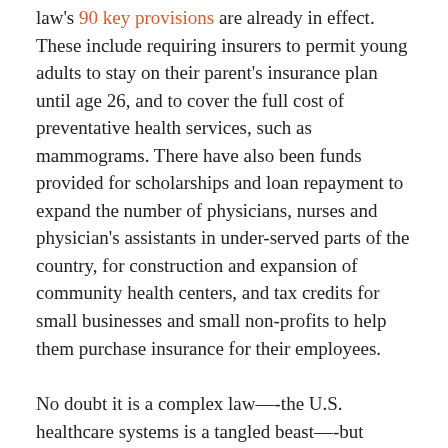law's 90 key provisions are already in effect. These include requiring insurers to permit young adults to stay on their parent's insurance plan until age 26, and to cover the full cost of preventative health services, such as mammograms. There have also been funds provided for scholarships and loan repayment to expand the number of physicians, nurses and physician's assistants in under-served parts of the country, for construction and expansion of community health centers, and tax credits for small businesses and small non-profits to help them purchase insurance for their employees.
No doubt it is a complex law—-the U.S. healthcare systems is a tangled beast—-but Americans are better off with Obamacare, than without it.